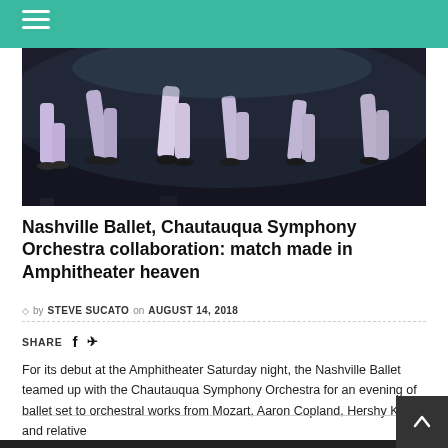[Figure (photo): Ballet dancers on stage, only legs visible, dark reflective floor, performing in black attire]
Nashville Ballet, Chautauqua Symphony Orchestra collaboration: match made in Amphitheater heaven
by STEVE SUCATO on AUGUST 14, 2018
SHARE
For its debut at the Amphitheater Saturday night, the Nashville Ballet teamed up with the Chautauqua Symphony Orchestra for an evening of ballet set to orchestral works from Mozart, Aaron Copland, Hershy Kay and relative